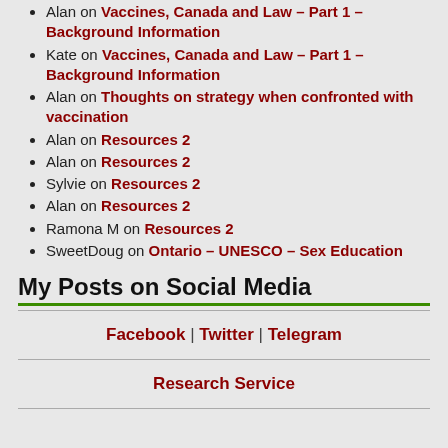Alan on Vaccines, Canada and Law – Part 1 – Background Information
Kate on Vaccines, Canada and Law – Part 1 – Background Information
Alan on Thoughts on strategy when confronted with vaccination
Alan on Resources 2
Alan on Resources 2
Sylvie on Resources 2
Alan on Resources 2
Ramona M on Resources 2
SweetDoug on Ontario – UNESCO – Sex Education
My Posts on Social Media
Facebook | Twitter | Telegram
Research Service